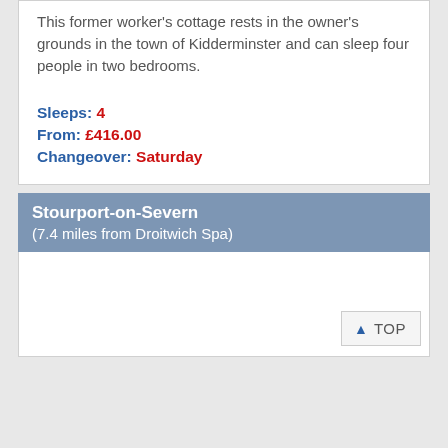This former worker's cottage rests in the owner's grounds in the town of Kidderminster and can sleep four people in two bedrooms.
Sleeps: 4
From: £416.00
Changeover: Saturday
Stourport-on-Severn
(7.4 miles from Droitwich Spa)
TOP